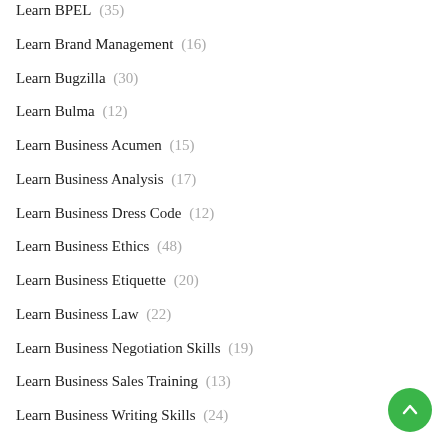Learn BPEL (35)
Learn Brand Management (16)
Learn Bugzilla (30)
Learn Bulma (12)
Learn Business Acumen (15)
Learn Business Analysis (17)
Learn Business Dress Code (12)
Learn Business Ethics (48)
Learn Business Etiquette (20)
Learn Business Law (22)
Learn Business Negotiation Skills (19)
Learn Business Sales Training (13)
Learn Business Writing Skills (24)